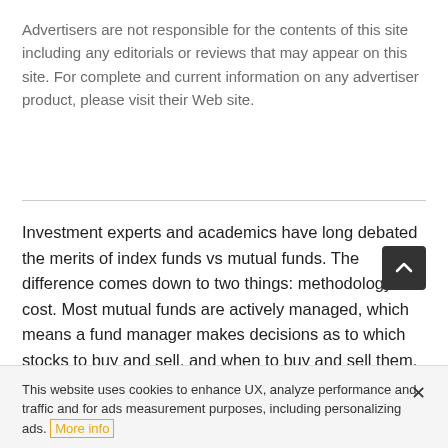Advertisers are not responsible for the contents of this site including any editorials or reviews that may appear on this site. For complete and current information on any advertiser product, please visit their Web site.
Investment experts and academics have long debated the merits of index funds vs mutual funds. The difference comes down to two things: methodology and cost. Most mutual funds are actively managed, which means a fund manager makes decisions as to which stocks to buy and sell, and when to buy and sell them. The goal of a mutual fund is to beat a particular benchmark. In contrast, an index fund passively tracks a benchmark (like the S&P 500), without a manager making any active decisions. Active funds charge m
This website uses cookies to enhance UX, analyze performance and traffic and for ads measurement purposes, including personalizing ads. More info